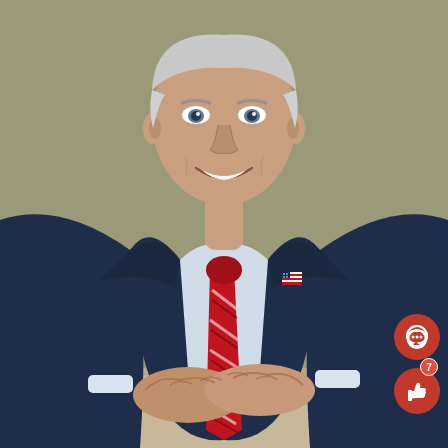[Figure (photo): Professional portrait of a middle-aged man in a navy blue suit, light blue dress shirt, and red striped tie with an American flag lapel pin. He is seated at a desk with his hands clasped, smiling at the camera against a tan/olive background. Social media reaction icons (comment bubble and thumbs-up with count '7') are visible in the bottom-right corner.]